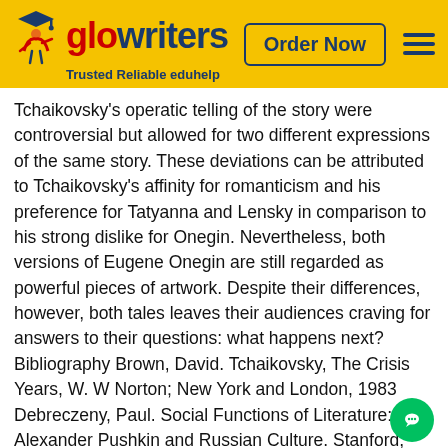glowriters – Trusted Reliable eduhelp | Order Now
Tchaikovsky's operatic telling of the story were controversial but allowed for two different expressions of the same story. These deviations can be attributed to Tchaikovsky's affinity for romanticism and his preference for Tatyanna and Lensky in comparison to his strong dislike for Onegin. Nevertheless, both versions of Eugene Onegin are still regarded as powerful pieces of artwork. Despite their differences, however, both tales leaves their audiences craving for answers to their questions: what happens next? Bibliography Brown, David. Tchaikovsky, The Crisis Years, W. W Norton; New York and London, 1983 Debreczeny, Paul. Social Functions of Literature: Alexander Pushkin and Russian Culture. Stanford, CA: Stanford University Press, 1997. Doran, Molly. The Transformation of Pushkin's Eugene Onegin into Tchaikovsky's Opera. Bowling Green State University, Ohio. 2012. Eugene Onegin. Wikipedia; Wikimedia Foundation. 2013. < http://en. wikipedia. org/wiki/Eugene_Onegin>. Pushkin, Alexandr. Translated by Vladimir Nabokov. Eugene Onegin. Princeton University Press, Princeton. 1999. Pushkin, Alexandr. Translated by A. S. Kli...